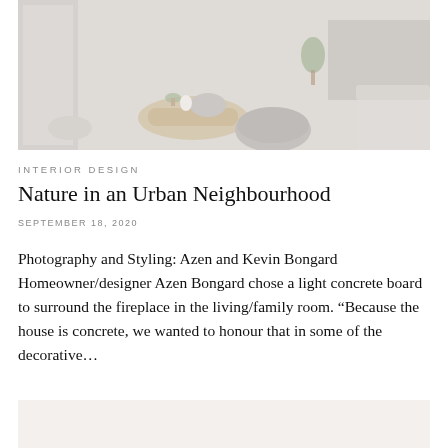[Figure (photo): Washed-out interior design photo showing a minimalist living room with a round wooden coffee table, knitted poufs, soft sofa, and plants near a large window. Light concrete tones throughout.]
INTERIOR DESIGN
Nature in an Urban Neighbourhood
SEPTEMBER 18, 2020
Photography and Styling: Azen and Kevin Bongard Homeowner/designer Azen Bongard chose a light concrete board to surround the fireplace in the living/family room. “Because the house is concrete, we wanted to honour that in some of the decorative…
[Figure (photo): Partially visible second photo, cropped at bottom of page, light gray-beige tones.]